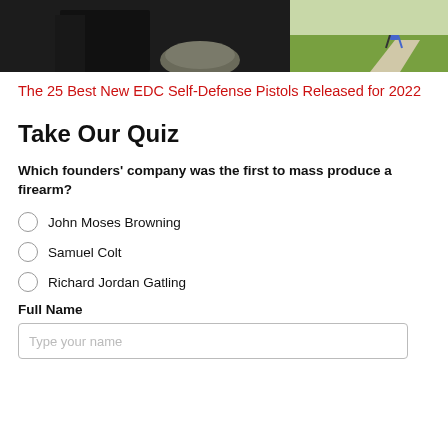[Figure (photo): Cropped photo showing a person in a black shirt on the left side and a person walking on a path on the right side with grass in the background]
The 25 Best New EDC Self-Defense Pistols Released for 2022
Take Our Quiz
Which founders' company was the first to mass produce a firearm?
John Moses Browning
Samuel Colt
Richard Jordan Gatling
Full Name
Type your name